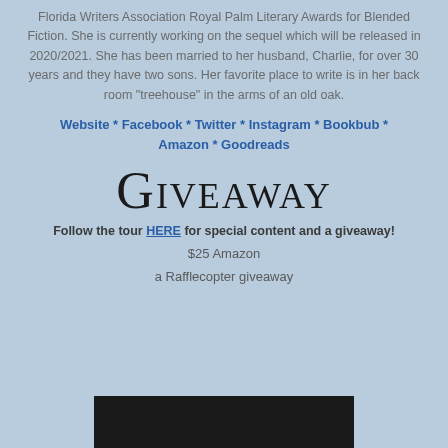Florida Writers Association Royal Palm Literary Awards for Blended Fiction. She is currently working on the sequel which will be released in 2020/2021. She has been married to her husband, Charlie, for over 30 years and they have two sons. Her favorite place to write is in her back room "treehouse" in the arms of an old oak.
Website * Facebook * Twitter * Instagram * Bookbub * Amazon * Goodreads
GIVEAWAY
Follow the tour HERE for special content and a giveaway!
$25 Amazon
a Rafflecopter giveaway
[Figure (photo): Dark/black image at the bottom of the page, partially visible]